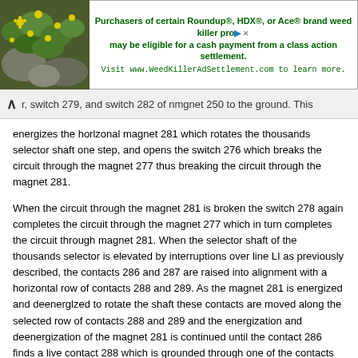[Figure (other): Advertisement banner: image of green plant with yellow flowers on left; text on right promoting Roundup/HDX/Ace weed killer class action settlement at WeedKillerAdSettlement.com]
r, switch 279, and switch 282 of nmgnet 250 to the ground. This energizes the horlzonal magnet 281 which rotates the thousands selector shaft one step, and opens the switch 276 which breaks the circuit through the magnet 277 thus breaking the circuit through the magnet 281.
When the circuit through the magnet 281 is broken the switch 278 again completes the circuit through the magnet 277 which in turn completes the circuit through magnet 281. When the selector shaft of the thousands selector is elevated by interruptions over line LI as previously described, the contacts 286 and 287 are raised into alignment with a horizontal row of contacts 288 and 289. As the magnet 281 is energized and deenerglzed to rotate the shaft these contacts are moved along the selected row of contacts 288 and 289 and the energization and deenergization of the magnet 281 is continued until the contact 286 finds a live contact 288 which is grounded through one of the contacts 270 (Fig. 16) and the arm 209. When this occurs the circuit over the magnet 277 will be shunted and the magnet 274 will be energized to attract its switch 275 and prevent further energization of the magnet 277. This in turn prevents completion of the circuit through the magnet 281 over the switch member 278. Energization of the magnet 27~ also moves the switch member 251 to connect the line Bl